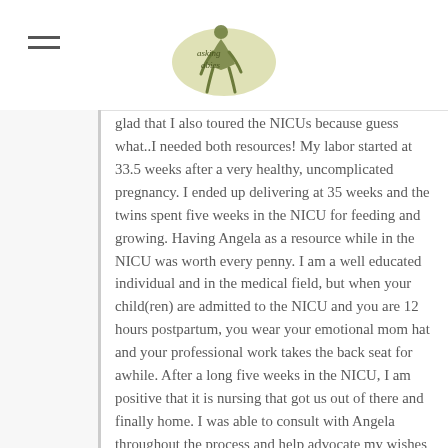Asking Babies (logo)
glad that I also toured the NICUs because guess what..I needed both resources! My labor started at 33.5 weeks after a very healthy, uncomplicated pregnancy. I ended up delivering at 35 weeks and the twins spent five weeks in the NICU for feeding and growing. Having Angela as a resource while in the NICU was worth every penny. I am a well educated individual and in the medical field, but when your child(ren) are admitted to the NICU and you are 12 hours postpartum, you wear your emotional mom hat and your professional work takes the back seat for awhile. After a long five weeks in the NICU, I am positive that it is nursing that got us out of there and finally home. I was able to consult with Angela throughout the process and help advocate my wishes to the medical team. Even though I was told on my tour of the NICU it was a very breastfeeding friendly environment and it was preferred over bottle feeding, I did not experience that at all. It was very reassuring to have another medically minded person with